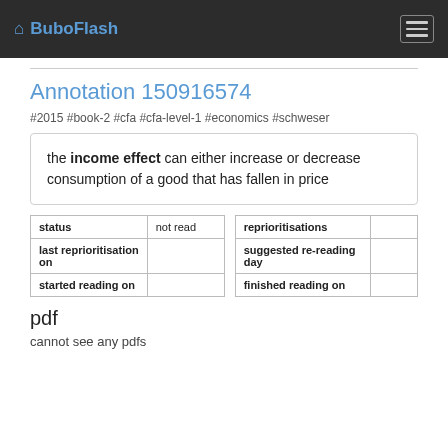BuboFlash
Annotation 150916574
#2015 #book-2 #cfa #cfa-level-1 #economics #schweser
the income effect can either increase or decrease consumption of a good that has fallen in price
| status | not read |
| --- | --- |
| last reprioritisation on |  |
| started reading on |  |
| reprioritisations |  |
| --- | --- |
| suggested re-reading day |  |
| finished reading on |  |
pdf
cannot see any pdfs